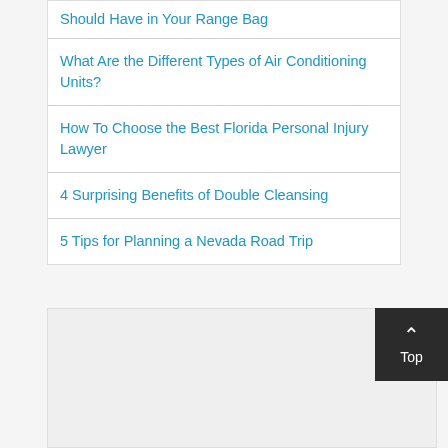Should Have in Your Range Bag
What Are the Different Types of Air Conditioning Units?
How To Choose the Best Florida Personal Injury Lawyer
4 Surprising Benefits of Double Cleansing
5 Tips for Planning a Nevada Road Trip
[Figure (other): Bottom footer section with dark background Top button showing chevron up arrow and 'Top' label]